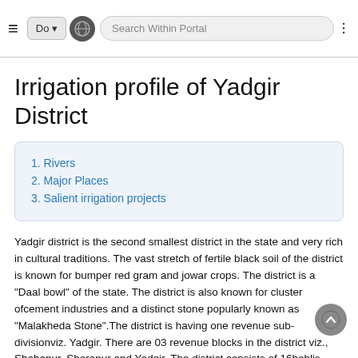Do   Search Within Portal
Irrigation profile of Yadgir District
1. Rivers
2. Major Places
3. Salient irrigation projects
Yadgir district is the second smallest district in the state and very rich in cultural traditions. The vast stretch of fertile black soil of the district is known for bumper red gram and jowar crops. The district is a “Daal bowl” of the state. The district is also known for cluster ofcement industries and a distinct stone popularly known as “Malakheda Stone”.The district is having one revenue sub-divisionviz. Yadgir. There are 03 revenue blocks in the district viz., Shahapur, Shorapur and Yadgir. The district consists of 16hoblis, One City municipal, 3 Town Muncipal, 1 Town Panchayat, 3 Taluk Panchayats, 117 Grama Panchayats, 4 Assembly constituencies. There are 519 village (487inhabited and 32 uninhabited). As per2011 Census, the total